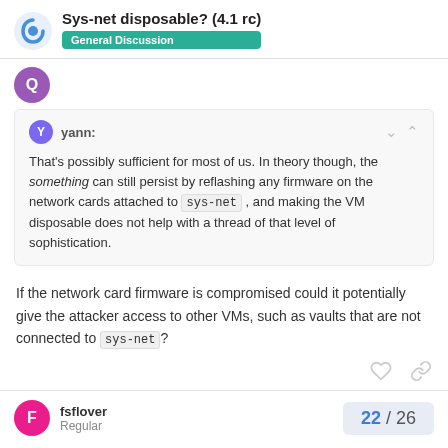Sys-net disposable? (4.1 rc) — General Discussion
yann: That's possibly sufficient for most of us. In theory though, the something can still persist by reflashing any firmware on the network cards attached to sys-net , and making the VM disposable does not help with a thread of that level of sophistication.
If the network card firmware is compromised could it potentially give the attacker access to other VMs, such as vaults that are not connected to sys-net?
fsflover Regular 22 / 26